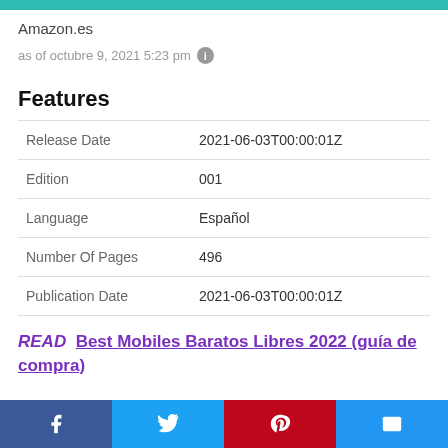Amazon.es
as of octubre 9, 2021 5:23 pm
Features
|  |  |
| --- | --- |
| Release Date | 2021-06-03T00:00:01Z |
| Edition | 001 |
| Language | Español |
| Number Of Pages | 496 |
| Publication Date | 2021-06-03T00:00:01Z |
READ  Best Mobiles Baratos Libres 2022 (guía de compra)